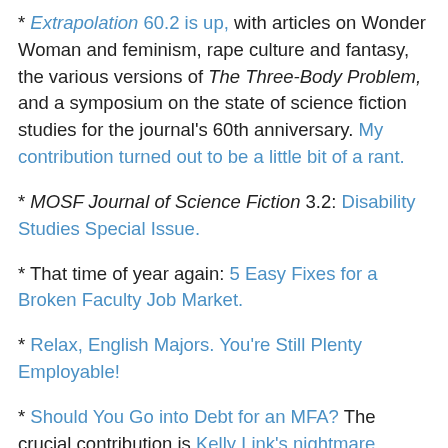* Extrapolation 60.2 is up, with articles on Wonder Woman and feminism, rape culture and fantasy, the various versions of The Three-Body Problem, and a symposium on the state of science fiction studies for the journal's 60th anniversary. My contribution turned out to be a little bit of a rant.
* MOSF Journal of Science Fiction 3.2: Disability Studies Special Issue.
* That time of year again: 5 Easy Fixes for a Broken Faculty Job Market.
* Relax, English Majors. You're Still Plenty Employable!
* Should You Go into Debt for an MFA? The crucial contribution is Kelly Link's nightmare thread about the debt load some people have coming out of more predatory